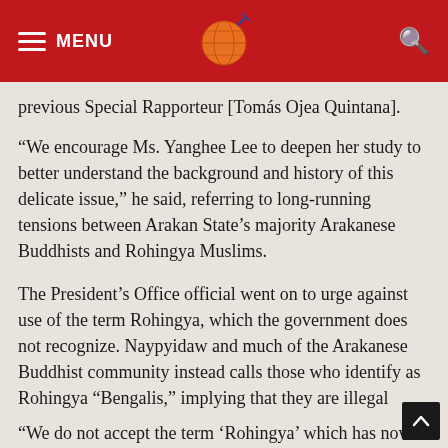MENU [logo] [search]
previous Special Rapporteur [Tomás Ojea Quintana].
“We encourage Ms. Yanghee Lee to deepen her study to better understand the background and history of this delicate issue,” he said, referring to long-running tensions between Arakan State’s majority Arakanese Buddhists and Rohingya Muslims.
The President’s Office official went on to urge against use of the term Rohingya, which the government does not recognize. Naypyidaw and much of the Arakanese Buddhist community instead calls those who identify as Rohingya “Bengalis,” implying that they are illegal immigrants from Bangladesh.
“We do not accept the term ‘Rohingya’ which has now